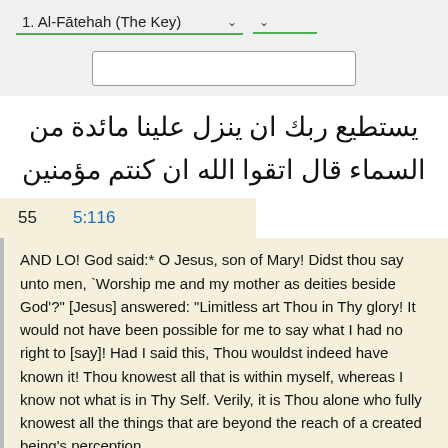1. Al-Fātehah (The Key)
[Figure (screenshot): Search input box]
يستطيع ربك ان ينزل علينا مائدة من السماء قال اتقوا الله ان كنتم مؤمنين
55    5:116
AND LO! God said:* O Jesus, son of Mary! Didst thou say unto men, `Worship me and my mother as deities beside God'?" [Jesus] answered: "Limitless art Thou in Thy glory! It would not have been possible for me to say what I had no right to [say]! Had I said this, Thou wouldst indeed have known it! Thou knowest all that is within myself, whereas I know not what is in Thy Self. Verily, it is Thou alone who fully knowest all the things that are beyond the reach of a created being's perception.